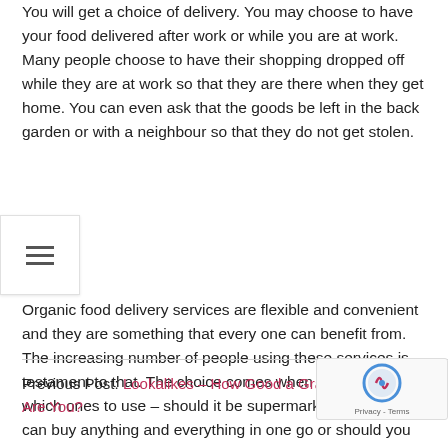You will get a choice of delivery. You may choose to have your food delivered after work or while you are at work. Many people choose to have their shopping dropped off while they are at work so that they are there when they get home. You can even ask that the goods be left in the back garden or with a neighbour so that they do not get stolen.
Organic food delivery services are flexible and convenient and they are something that every one can benefit from. The increasing number of people using these services is testament to that. The choice comes when you decide which ones to use – should it be supermarkets where you can buy anything and everything in one go or should you support the smaller companies where you may not be able to buy everything that you are used to….ill let you decide.
Previous Post: Lookalikes – How Good a Grammar Detector Are You?